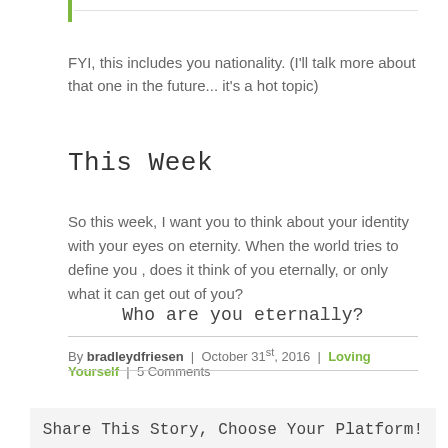FYI, this includes you nationality. (I'll talk more about that one in the future... it's a hot topic)
This Week
So this week, I want you to think about your identity with your eyes on eternity. When the world tries to define you , does it think of you eternally, or only what it can get out of you?
Who are you eternally?
By bradleydfriesen | October 31st, 2016 | Loving Yourself | 5 Comments
Share This Story, Choose Your Platform!